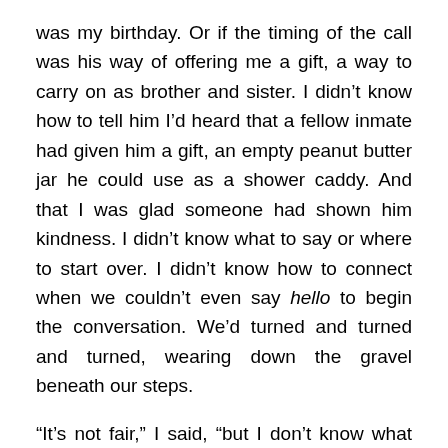was my birthday. Or if the timing of the call was his way of offering me a gift, a way to carry on as brother and sister. I didn't know how to tell him I'd heard that a fellow inmate had given him a gift, an empty peanut butter jar he could use as a shower caddy. And that I was glad someone had shown him kindness. I didn't know what to say or where to start over. I didn't know how to connect when we couldn't even say hello to begin the conversation. We'd turned and turned and turned, wearing down the gravel beneath our steps.
“It’s not fair,” I said, “but I don’t know what else to do for you.” My fingers, numb with cold, couldn’t feel the phone as I pushed to end the call.
The sun is not quick on its feet. It holds its position, unmoved by the commands giro, giro, giro. In Spanish, the